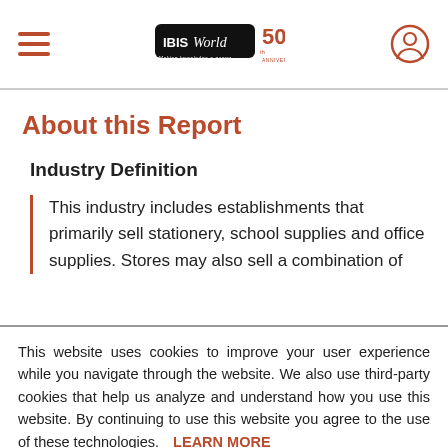IBISWorld 50th Anniversary
About this Report
Industry Definition
This industry includes establishments that primarily sell stationery, school supplies and office supplies. Stores may also sell a combination of
This website uses cookies to improve your user experience while you navigate through the website. We also use third-party cookies that help us analyze and understand how you use this website. By continuing to use this website you agree to the use of these technologies. LEARN MORE
ACCEPT